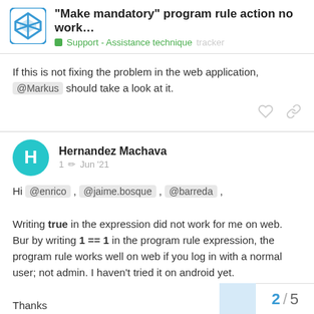"Make mandatory" program rule action no work... | Support - Assistance technique | tracker
If this is not fixing the problem in the web application, @Markus should take a look at it.
Hernandez Machava  1 ✏ Jun '21
Hi @enrico , @jaime.bosque , @barreda ,

Writing true in the expression did not work for me on web. Bur by writing 1 == 1 in the program rule expression, the program rule works well on web if you log in with a normal user; not admin. I haven't tried it on android yet.

Thanks
2 / 5